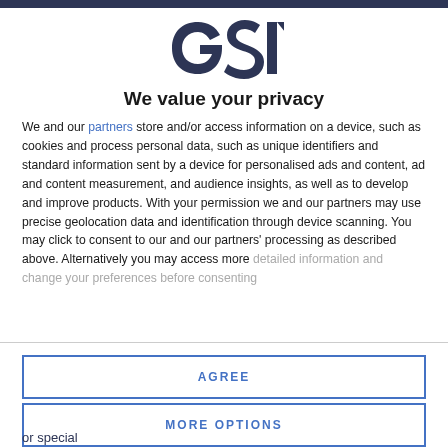[Figure (logo): GSN logo in dark navy/purple stylized letters]
We value your privacy
We and our partners store and/or access information on a device, such as cookies and process personal data, such as unique identifiers and standard information sent by a device for personalised ads and content, ad and content measurement, and audience insights, as well as to develop and improve products. With your permission we and our partners may use precise geolocation data and identification through device scanning. You may click to consent to our and our partners' processing as described above. Alternatively you may access more detailed information and change your preferences before consenting
AGREE
MORE OPTIONS
or special